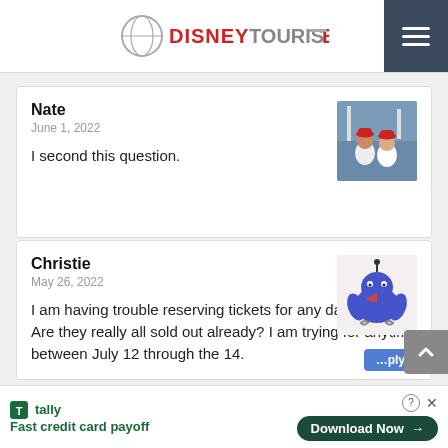DisneyTouristBlog
Nate
June 1, 2022
I second this question.
[Figure (photo): Avatar photo of Nate, showing two people at a sports event]
Christie
May 26, 2022
I am having trouble reserving tickets for any day I choose. Are they really all sold out already? I am trying for anytime between July 12 through the 14.
[Figure (illustration): Avatar illustration of Christie, a cartoon blue bird character]
Tally - Fast credit card payoff | Download Now